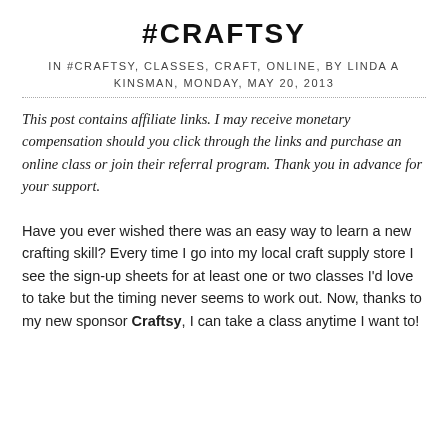#CRAFTSY
IN #CRAFTSY, CLASSES, CRAFT, ONLINE, BY LINDA A KINSMAN, MONDAY, MAY 20, 2013
This post contains affiliate links. I may receive monetary compensation should you click through the links and purchase an online class or join their referral program. Thank you in advance for your support.
Have you ever wished there was an easy way to learn a new crafting skill? Every time I go into my local craft supply store I see the sign-up sheets for at least one or two classes I'd love to take but the timing never seems to work out. Now, thanks to my new sponsor Craftsy, I can take a class anytime I want to!